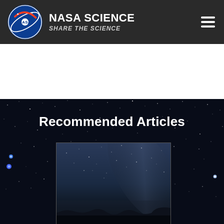NASA SCIENCE — SHARE THE SCIENCE
Recommended Articles
[Figure (photo): Night sky photograph showing stars, Milky Way, and dark landscape silhouette, used as article thumbnail]